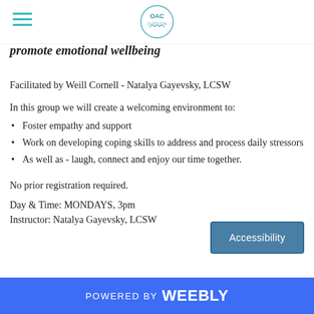OAC logo and hamburger menu
promote emotional wellbeing
Facilitated by Weill Cornell - Natalya Gayevsky, LCSW
In this group we will create a welcoming environment to:
Foster empathy and support
Work on developing coping skills to address and process daily stressors
As well as - laugh, connect and enjoy our time together.
No prior registration required.
Day & Time: MONDAYS, 3pm
Instructor: Natalya Gayevsky, LCSW
POWERED BY weebly